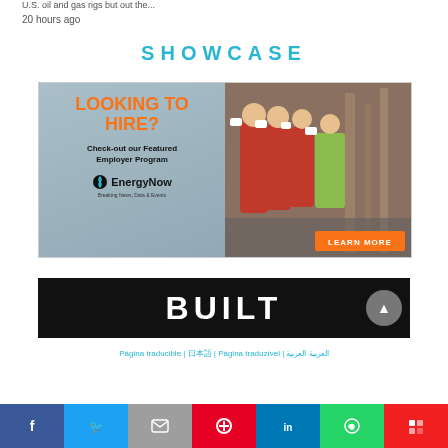U.S. oil and gas rigs but out the…
20 hours ago
SHOWCASE
[Figure (photo): EnergyNow advertisement banner: left side shows orange text 'LOOKING TO HIRE?' with 'Check-out our Featured Employer Program' and EnergyNow logo. Right side shows workers in red coveralls and hard hats at an industrial facility with an orange 'LEARN MORE' button.]
[Figure (photo): Black banner with bold white text 'BUILT' and a circular back-to-top arrow button.]
Página traducible | 日本語 | Página traduzível | العربية العربية
Facebook | Twitter | Email | Pinterest | LinkedIn | WhatsApp | Flipboard